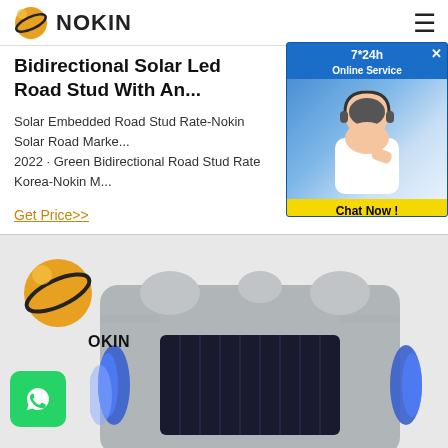NOKIN
Bidirectional Solar Led Road Stud With An...
Solar Embedded Road Stud Rate-Nokin Solar Road Marke... 2022 · Green Bidirectional Road Stud Rate Korea-Nokin M...
Get Price>>
[Figure (screenshot): 7*24h Online Service chat widget with agent photo and Chat Now button]
[Figure (photo): Bidirectional solar LED road stud product photo showing gray aluminum housing with blue LED lights and solar panel, with NOKIN logo watermark]